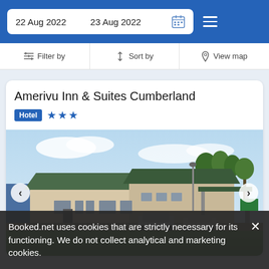22 Aug 2022   23 Aug 2022
Filter by   Sort by   View map
Amerivu Inn & Suites Cumberland
Hotel ★★★
[Figure (photo): Exterior photo of Amerivu Inn & Suites Cumberland motel building with green roof, parking lot, cars, and green lawn under a partly cloudy sky]
Booked.net uses cookies that are strictly necessary for its functioning. We do not collect analytical and marketing cookies.